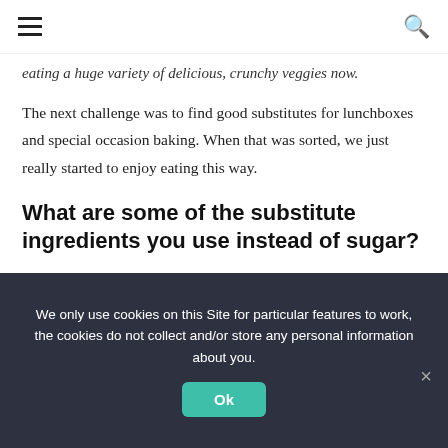[hamburger menu icon] [search icon]
eating a huge variety of delicious, crunchy veggies now.
The next challenge was to find good substitutes for lunchboxes and special occasion baking. When that was sorted, we just really started to enjoy eating this way.
What are some of the substitute ingredients you use instead of sugar?
I use xylitol in all my baking and in my morning coffee. Apart from that we just cut out sweeteners and substitutes altogether. Most
We only use cookies on this Site for particular features to work, the cookies do not collect and/or store any personal information about you.